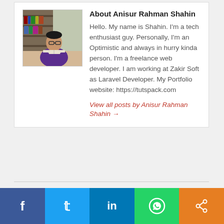[Figure (photo): Photo of Anisur Rahman Shahin sitting at a library desk reading a book, wearing glasses and a purple shirt]
About Anisur Rahman Shahin
Hello. My name is Shahin. I'm a tech enthusiast guy. Personally, I'm an Optimistic and always in hurry kinda person. I'm a freelance web developer. I am working at Zakir Soft as Laravel Developer. My Portfolio website: https://tutspack.com
View all posts by Anisur Rahman Shahin →
0 Shares
Leav...
[Figure (infographic): Social share bar with Facebook, Twitter, LinkedIn, WhatsApp, and Share buttons]